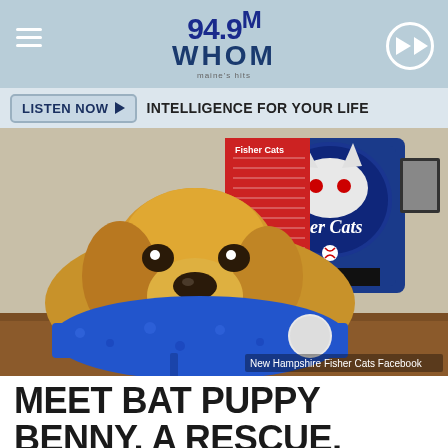94.9 WHOM
LISTEN NOW  INTELLIGENCE FOR YOUR LIFE
[Figure (photo): A golden retriever puppy wearing a blue service vest lying on a desk, with a New Hampshire Fisher Cats logo on the wall behind. Caption reads: New Hampshire Fisher Cats Facebook]
MEET BAT PUPPY BENNY, A RESCUE, NOW WITH THE NEW